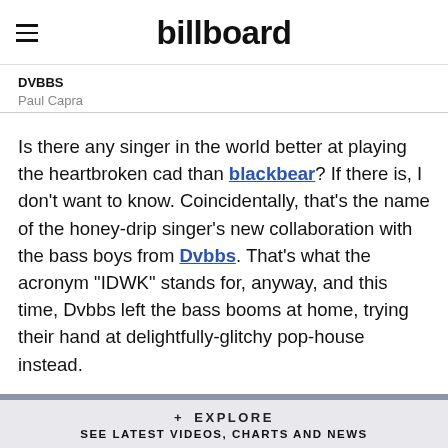billboard
DVBBS
Paul Capra
Is there any singer in the world better at playing the heartbroken cad than blackbear? If there is, I don't want to know. Coincidentally, that's the name of the honey-drip singer's new collaboration with the bass boys from Dvbbs. That's what the acronym "IDWK" stands for, anyway, and this time, Dvbbs left the bass booms at home, trying their hand at delightfully-glitchy pop-house instead.
+ EXPLORE
SEE LATEST VIDEOS, CHARTS AND NEWS